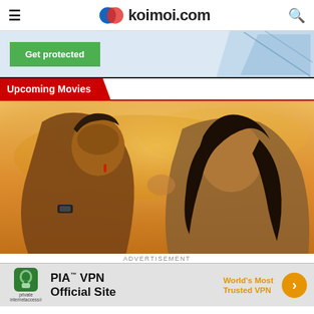koimoi.com
[Figure (infographic): Advertisement banner with green 'Get protected' button and blue diamond shapes on light blue background]
Upcoming Movies
[Figure (photo): Movie promotional image showing two actors (male and female) in a close romantic pose against a warm golden/orange background]
ADVERTISEMENT
[Figure (infographic): PIA VPN advertisement banner with Private Internet Access logo, 'PIA TM VPN Official Site' text and 'World's Most Trusted VPN' in orange with arrow button]